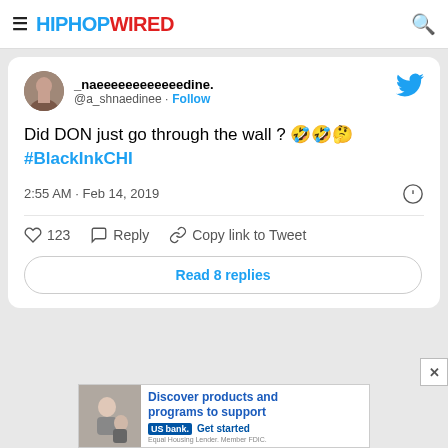HipHopWired
[Figure (screenshot): Embedded tweet from @a_shnaedinee reading: Did DON just go through the wall? 🤣🤣🤔 #BlackInkCHI — posted at 2:55 AM · Feb 14, 2019, with 123 likes, Reply, Copy link to Tweet actions and a Read 8 replies button]
[Figure (infographic): US Bank advertisement banner: Discover products and programs to support — US bank logo with Get started button and Equal Housing Lender Member FDIC fine print]